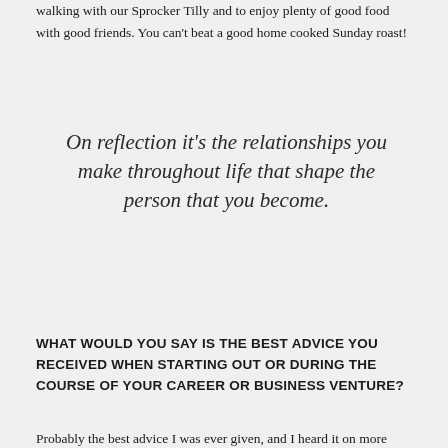walking with our Sprocker Tilly and to enjoy plenty of good food with good friends. You can't beat a good home cooked Sunday roast!
On reflection it's the relationships you make throughout life that shape the person that you become.
WHAT WOULD YOU SAY IS THE BEST ADVICE YOU RECEIVED WHEN STARTING OUT OR DURING THE COURSE OF YOUR CAREER OR BUSINESS VENTURE?
Probably the best advice I was ever given, and I heard it on more than